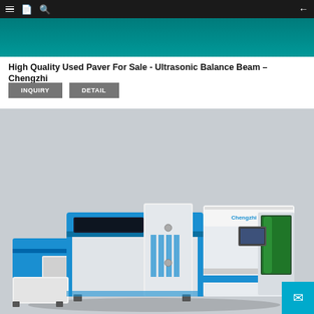Navigation bar with hamburger, book, search icons and back arrow
[Figure (photo): Teal/dark teal colored header banner image at top of page]
High Quality Used Paver For Sale - Ultrasonic Balance Beam – Chengzhi
INQUIRY  DETAIL
[Figure (photo): Industrial laser cutting machine in white and blue colors with Chengzhi branding, shown against a grey background. The machine has multiple enclosed sections with a control panel and green laser component visible.]